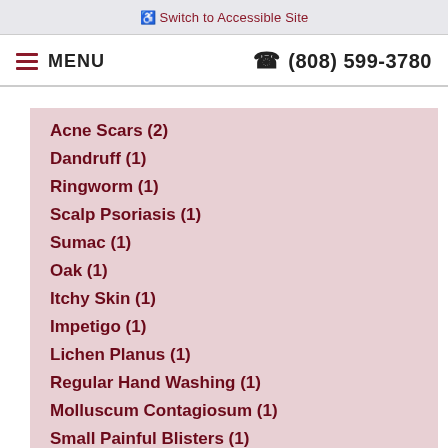Switch to Accessible Site
MENU   (808) 599-3780
Acne Scars (2)
Dandruff (1)
Ringworm (1)
Scalp Psoriasis (1)
Sumac (1)
Oak (1)
Itchy Skin (1)
Impetigo (1)
Lichen Planus (1)
Regular Hand Washing (1)
Molluscum Contagiosum (1)
Small Painful Blisters (1)
Skin Tag (1)
Pediatric Atopic Dermatitis (1)
Atopic Dermatitis (1)
Bed Sores (1)
Skin Cancer Screening (3)